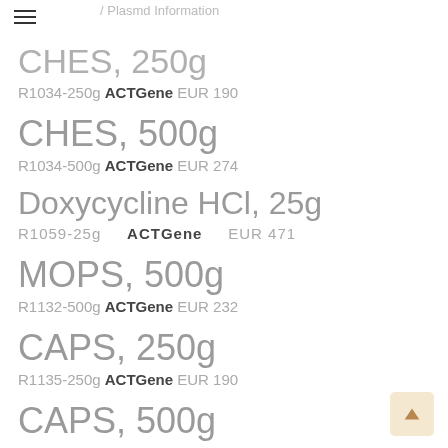/ Plasmd Information
CHES, 250g
R1034-250g ACTGene EUR 190
CHES, 500g
R1034-500g ACTGene EUR 274
Doxycycline HCl, 25g
R1059-25g ACTGene EUR 471
MOPS, 500g
R1132-500g ACTGene EUR 232
CAPS, 250g
R1135-250g ACTGene EUR 190
CAPS, 500g
R1135-500g ACTGene EUR 274
Penicillin G Potassium